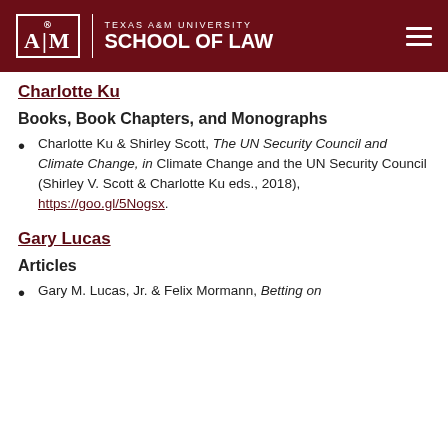Texas A&M University School of Law
Charlotte Ku
Books, Book Chapters, and Monographs
Charlotte Ku & Shirley Scott, The UN Security Council and Climate Change, in Climate Change and the UN Security Council (Shirley V. Scott & Charlotte Ku eds., 2018), https://goo.gl/5Nogsx.
Gary Lucas
Articles
Gary M. Lucas, Jr. & Felix Mormann, Betting on